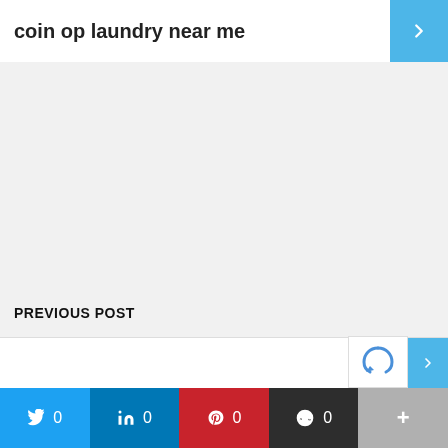coin op laundry near me
PREVIOUS POST
Twitter 0 | LinkedIn 0 | Pinterest 0 | Reddit 0 | More